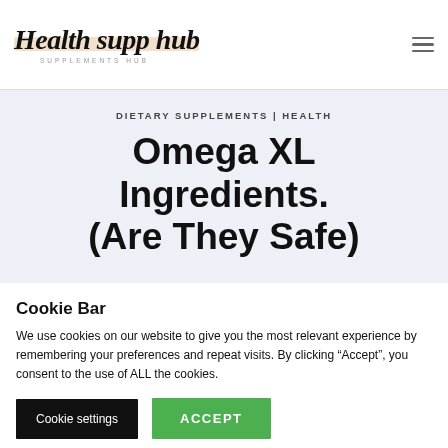[Figure (logo): Health supp hub logo with script font and 'SUPPLEMENTS HUB' subtitle in small caps]
DIETARY SUPPLEMENTS | HEALTH
Omega XL Ingredients. (Are They Safe)
Cookie Bar
We use cookies on our website to give you the most relevant experience by remembering your preferences and repeat visits. By clicking “Accept”, you consent to the use of ALL the cookies.
Cookie settings | ACCEPT